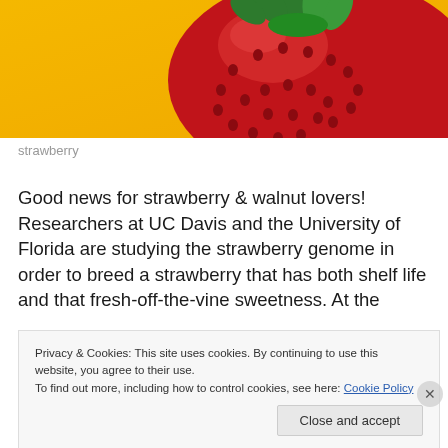[Figure (photo): Close-up photo of a red strawberry against a yellow/orange background, showing the top portion with green leaves]
strawberry
Good news for strawberry & walnut lovers! Researchers at UC Davis and the University of Florida are studying the strawberry genome in order to breed a strawberry that has both shelf life and that fresh-off-the-vine sweetness. At the
Privacy & Cookies: This site uses cookies. By continuing to use this website, you agree to their use.
To find out more, including how to control cookies, see here: Cookie Policy
Close and accept